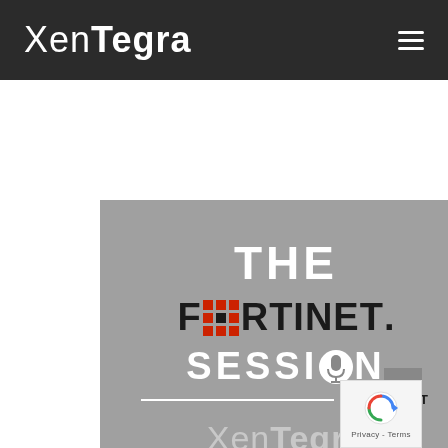XenTegra
[Figure (logo): The Fortinet Session Podcast logo on grey background with XenTegra branding at bottom. Shows 'THE' in white bold text, 'FORTINET.' in dark bold text with red grid icon replacing the letter O, 'SESSION' in white bold text with microphone icon replacing the letter O, a divider line and 'PODCAST' label, and 'XenTegra' logo at the bottom in light grey.]